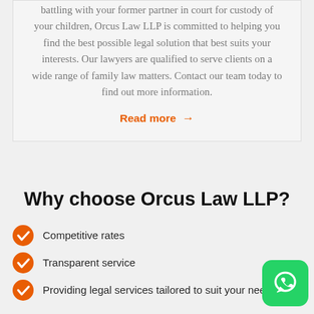battling with your former partner in court for custody of your children, Orcus Law LLP is committed to helping you find the best possible legal solution that best suits your interests. Our lawyers are qualified to serve clients on a wide range of family law matters. Contact our team today to find out more information.
Read more →
Why choose Orcus Law LLP?
Competitive rates
Transparent service
Providing legal services tailored to suit your needs
[Figure (logo): WhatsApp green button with phone/chat icon]